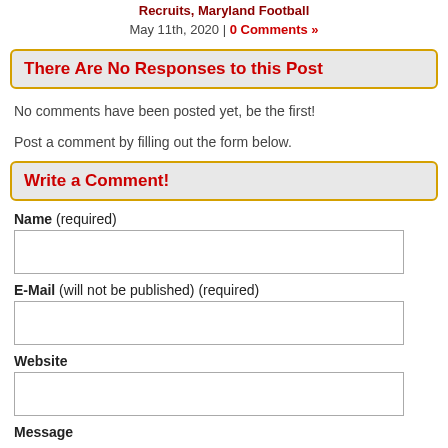Recruits, Maryland Football
May 11th, 2020 | 0 Comments »
There Are No Responses to this Post
No comments have been posted yet, be the first!
Post a comment by filling out the form below.
Write a Comment!
Name (required)
E-Mail (will not be published) (required)
Website
Message